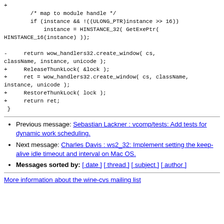Code diff showing wine handler changes with +/- lines
Previous message: Sebastian Lackner : vcomp/tests: Add tests for dynamic work scheduling.
Next message: Charles Davis : ws2_32: Implement setting the keep-alive idle timeout and interval on Mac OS.
Messages sorted by: [ date ] [ thread ] [ subject ] [ author ]
More information about the wine-cvs mailing list